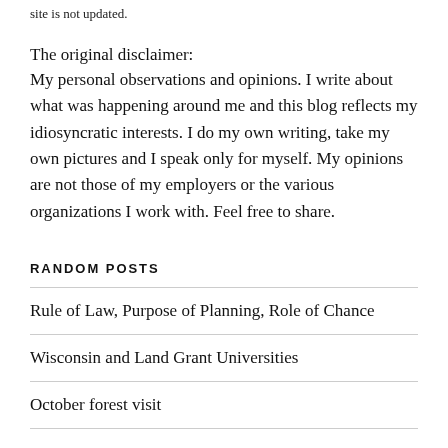site is not updated.
The original disclaimer:
My personal observations and opinions. I write about what was happening around me and this blog reflects my idiosyncratic interests. I do my own writing, take my own pictures and I speak only for myself. My opinions are not those of my employers or the various organizations I work with. Feel free to share.
RANDOM POSTS
Rule of Law, Purpose of Planning, Role of Chance
Wisconsin and Land Grant Universities
October forest visit